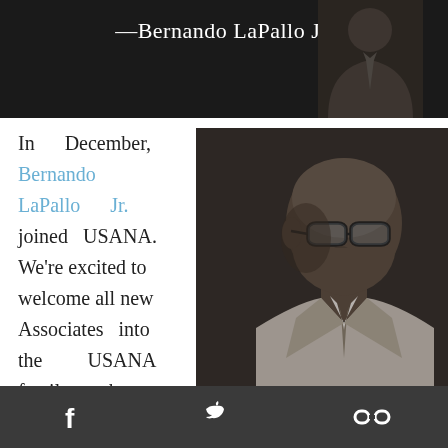—Bernando LaPallo Jr.
[Figure (photo): Black and white photo of Bernando LaPallo Jr., an elderly man wearing glasses and a suit with a tie, shot in profile/three-quarter view against a dark background]
In December, Bernando LaPallo Jr. joined USANA. We're excited to welcome all new Associates into the USANA family, but Bernando is
Facebook  Twitter  Link icons